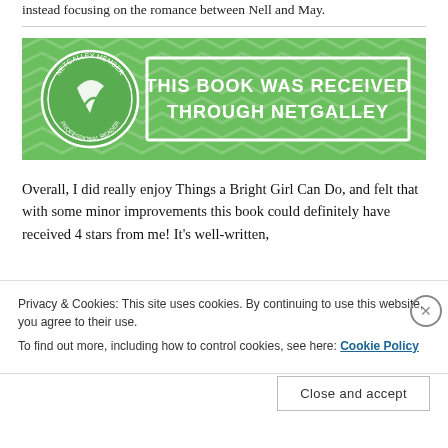instead focusing on the romance between Nell and May.
[Figure (illustration): Green NetGalley banner with chevron pattern background, circular NetGalley member badge on left, white rectangle outline, text reading 'THIS BOOK WAS RECEIVED THROUGH NETGALLEY' in white bold uppercase letters]
Overall, I did really enjoy Things a Bright Girl Can Do, and felt that with some minor improvements this book could definitely have received 4 stars from me! It's well-written,
Privacy & Cookies: This site uses cookies. By continuing to use this website, you agree to their use.
To find out more, including how to control cookies, see here: Cookie Policy
Close and accept